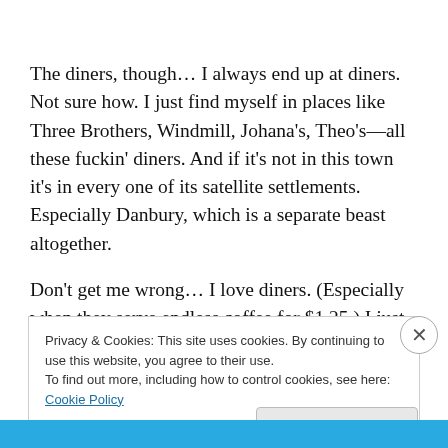The diners, though… I always end up at diners. Not sure how. I just find myself in places like Three Brothers, Windmill, Johana's, Theo's—all these fuckin' diners. And if it's not in this town it's in every one of its satellite settlements. Especially Danbury, which is a separate beast altogether.
Don't get me wrong… I love diners. (Especially when they serve endless coffee for $1.25.) I just get bad déjà vu.
Privacy & Cookies: This site uses cookies. By continuing to use this website, you agree to their use.
To find out more, including how to control cookies, see here: Cookie Policy